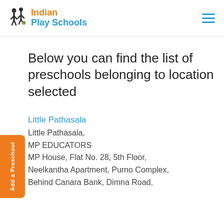Indian Play Schools
Below you can find the list of preschools belonging to location selected
Little Pathasala
Little Pathasala,
MP EDUCATORS
MP House, Flat No. 28, 5th Floor,
Neelkantha Apartment, Purno Complex,
Behind Canara Bank, Dimna Road,